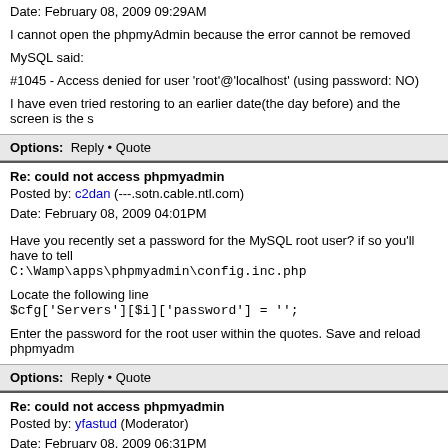Date: February 08, 2009 09:29AM
I cannot open the phpmyAdmin because the error cannot be removed
MySQL said:
#1045 - Access denied for user 'root'@'localhost' (using password: NO)
I have even tried restoring to an earlier date(the day before) and the screen is the s
Options:  Reply • Quote
Re: could not access phpmyadmin
Posted by: c2dan (---.sotn.cable.ntl.com)
Date: February 08, 2009 04:01PM
Have you recently set a password for the MySQL root user? if so you'll have to tell
C:\Wamp\apps\phpmyadmin\config.inc.php
Locate the following line
$cfg['Servers'][$i]['password'] = '';
Enter the password for the root user within the quotes. Save and reload phpmyadm
Options:  Reply • Quote
Re: could not access phpmyadmin
Posted by: yfastud (Moderator)
Date: February 08, 2009 06:31PM